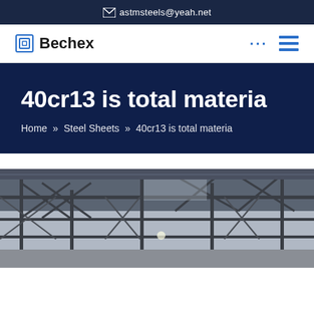astmsteels@yeah.net
[Figure (logo): Bechex company logo with blue square icon and bold text]
40cr13 is total materia
Home » Steel Sheets » 40cr13 is total materia
[Figure (photo): Industrial steel warehouse interior showing steel structural roof trusses and beams]